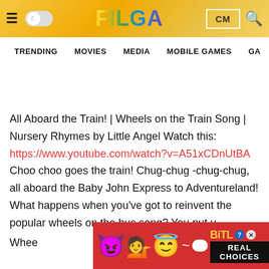FILGA — TRENDING  MOVIES  MEDIA  MOBILE GAMES  GA
All Aboard the Train! | Wheels on the Train Song | Nursery Rhymes by Little Angel Watch this: https://www.youtube.com/watch?v=A51xCDnUtBA Choo choo goes the train! Chug-chug -chug-chug, all aboard the Baby John Express to Adventureland! What happens when you've got to reinvent the popular wheels on the bus song? You put u... Whee...ds
[Figure (screenshot): BitLife advertisement banner with emoji characters (devil, person, angel emoji) on red background with BitLife logo and 'REAL CHOICES' text]